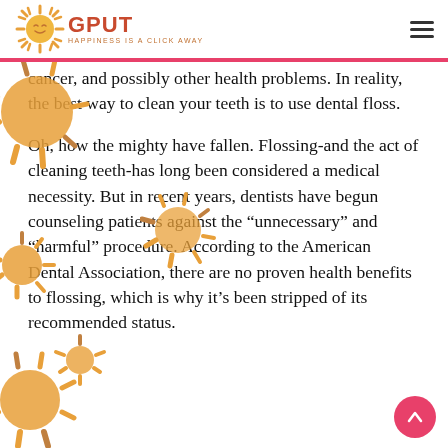GPUT — HAPPINESS IS A CLICK AWAY
cancer, and possibly other health problems. In reality, the best way to clean your teeth is to use dental floss.
Oh, how the mighty have fallen. Flossing-and the act of cleaning teeth-has long been considered a medical necessity. But in recent years, dentists have begun counseling patients against the "unnecessary" and "harmful" procedure. According to the American Dental Association, there are no proven health benefits to flossing, which is why it's been stripped of its recommended status.